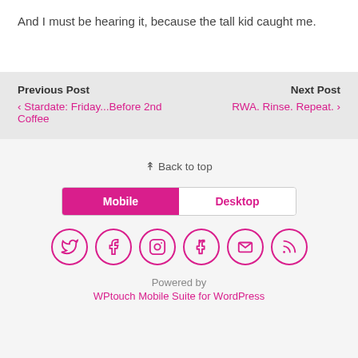And I must be hearing it, because the tall kid caught me.
Previous Post
‹ Stardate: Friday...Before 2nd Coffee
Next Post
RWA. Rinse. Repeat. ›
⇈ Back to top
Mobile | Desktop
[Figure (illustration): Six social media icon circles in magenta: Twitter, Facebook, Instagram, Tumblr, Email, RSS]
Powered by
WPtouch Mobile Suite for WordPress